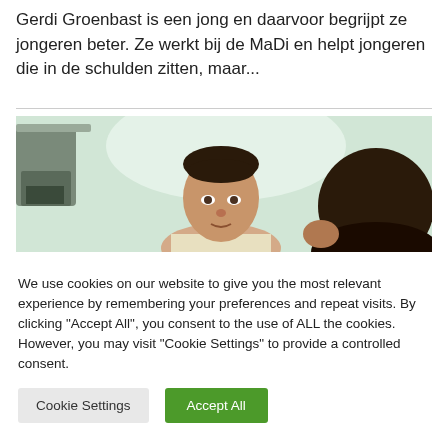Gerdi Groenbast is een jong en daarvoor begrijpt ze jongeren beter. Ze werkt bij de MaDi en helpt jongeren die in de schulden zitten, maar...
[Figure (photo): Two men in an office or indoor setting, one facing the camera and one with his back turned, slightly blurred background with greenish lighting.]
We use cookies on our website to give you the most relevant experience by remembering your preferences and repeat visits. By clicking "Accept All", you consent to the use of ALL the cookies. However, you may visit "Cookie Settings" to provide a controlled consent.